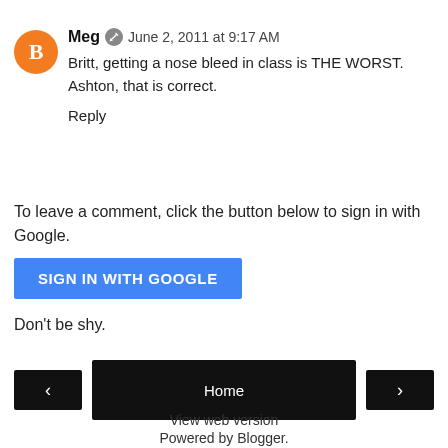Meg  June 2, 2011 at 9:17 AM
Britt, getting a nose bleed in class is THE WORST.
Ashton, that is correct.

Reply
To leave a comment, click the button below to sign in with Google.
SIGN IN WITH GOOGLE
Don't be shy.
< Home >
View web version
Powered by Blogger.